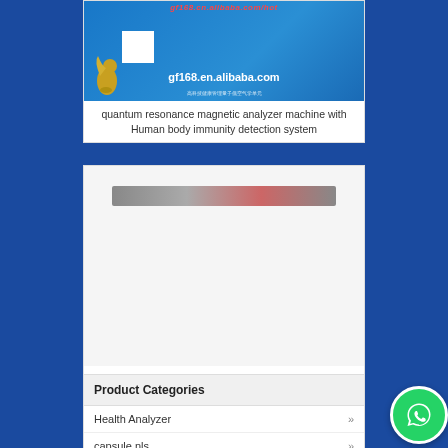[Figure (screenshot): Product card showing quantum resonance magnetic analyzer machine with alibaba.com product image - blue card with bird logo and white box]
quantum resonance magnetic analyzer machine with Human body immunity detection system
[Figure (screenshot): Product card showing quantum resonance magnetic analyzer machine - white background product image with horizontal strip]
quantum resonance magnetic analyzer machine with Quantum Health Tester (with printer &30items
Product Categories
Health Analyzer »
capsule nls »
[Figure (screenshot): WhatsApp green circle button in bottom right corner]